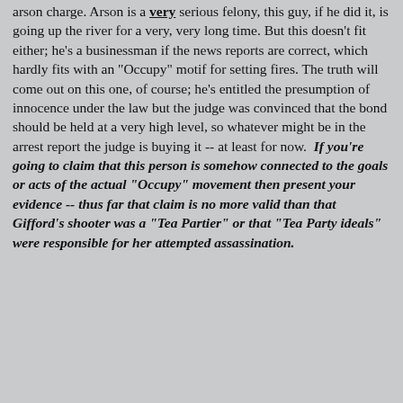arson charge.  Arson is a very serious felony, this guy, if he did it, is going up the river for a very, very long time.  But this doesn't fit either; he's a businessman if the news reports are correct, which hardly fits with an "Occupy" motif for setting fires.  The truth will come out on this one, of course; he's entitled the presumption of innocence under the law but the judge was convinced that the bond should be held at a very high level, so whatever might be in the arrest report the judge is buying it -- at least for now.  If you're going to claim that this person is somehow connected to the goals or acts of the actual "Occupy" movement then present your evidence -- thus far that claim is no more valid than that Gifford's shooter was a "Tea Partier" or that "Tea Party ideals" were responsible for her attempted assassination.